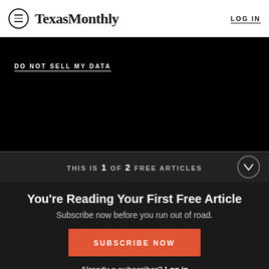TexasMonthly  LOG IN
DO NOT SELL MY DATA
THIS IS 1 OF 2 FREE ARTICLES
You're Reading Your First Free Article
Subscribe now before you run out of road.
SUBSCRIBE NOW
Already a subscriber? Log in